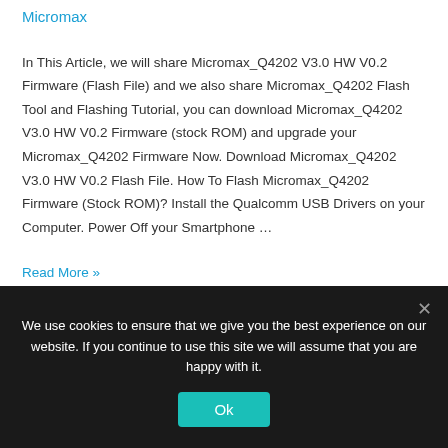Micromax
In This Article, we will share Micromax_Q4202 V3.0 HW V0.2 Firmware (Flash File) and we also share Micromax_Q4202 Flash Tool and Flashing Tutorial, you can download Micromax_Q4202 V3.0 HW V0.2 Firmware (stock ROM) and upgrade your Micromax_Q4202 Firmware Now. Download Micromax_Q4202 V3.0 HW V0.2 Flash File. How To Flash Micromax_Q4202 Firmware (Stock ROM)?  Install the Qualcomm USB Drivers on your Computer.  Power Off your Smartphone …
Read More »
We use cookies to ensure that we give you the best experience on our website. If you continue to use this site we will assume that you are happy with it.